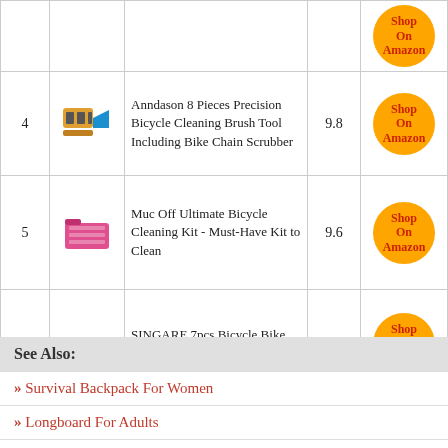| # | Image | Product | Score | Link |
| --- | --- | --- | --- | --- |
| 4 | [img] | Anndason 8 Pieces Precision Bicycle Cleaning Brush Tool Including Bike Chain Scrubber | 9.8 | Shop On Amazon |
| 5 | [img] | Muc Off Ultimate Bicycle Cleaning Kit - Must-Have Kit to Clean | 9.6 | Shop On Amazon |
| 6 | [img] | SINGARE 7pcs Bicycle Bike Cleaning Tools Set | 9.2 | Shop On Amazon |
| 7 | [img] | focopot Bike Cleaning Kit (9pcs) | 9 | Shop On Amazon |
| 8 | [img] | Park Tool CG-2.4 Bicycle Chain | ? | Shop On Amazon |
See Also:
Survival Backpack For Women
Longboard For Adults